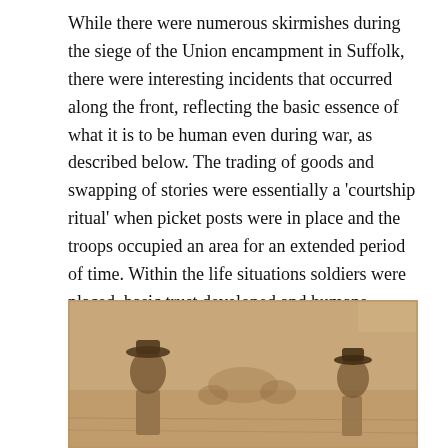While there were numerous skirmishes during the siege of the Union encampment in Suffolk, there were interesting incidents that occurred along the front, reflecting the basic essence of what it is to be human even during war, as described below. The trading of goods and swapping of stories were essentially a 'courtship ritual' when picket posts were in place and the troops occupied an area for an extended period of time. Within the life situations soldiers were placed, basic trust developed and humans reached out to other humans on the other side and soldiers opened up about the war, their families, and life in general. [10]
[Figure (illustration): A sepia-toned historical illustration or sketch showing soldiers, one on the left wearing a hat and one on the right also wearing a hat, set against a muted brown background suggestive of a wartime scene.]